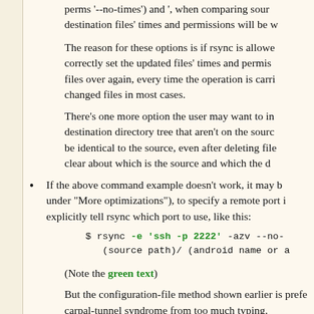perms '--no-times') and ', when comparing source and destination files' times and permissions will be w
The reason for these options is if rsync is allowed to correctly set the updated files' times and permissions, files over again, every time the operation is carried out, changed files in most cases.
There's one more option the user may want to include: destination directory tree that aren't on the source, be identical to the source, even after deleting files, clear about which is the source and which the d
If the above command example doesn't work, it may be under "More optimizations"), to specify a remote port explicitly tell rsync which port to use, like this:
$ rsync -e 'ssh -p 2222' -azv --no-p (source path)/ (android name or a
(Note the green text)
But the configuration-file method shown earlier is preferred, carpal-tunnel syndrome from too much typing.
To summarize the above, even though rsync can create its time stamp. I personally regard this as a bug, but th
Notwithstanding the above bug, rsync is a very efficient needs periodic updates in a way that may involve man The absence of rsync support was on a short list of cri